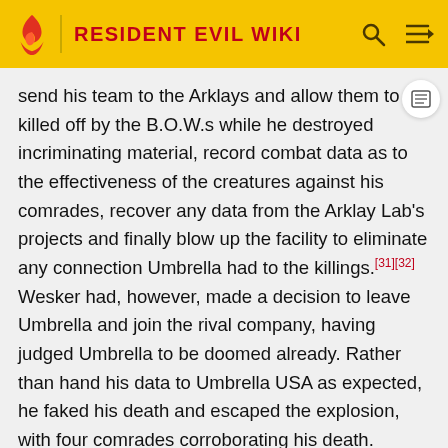RESIDENT EVIL WIKI
send his team to the Arklays and allow them to be killed off by the B.O.W.s while he destroyed incriminating material, record combat data as to the effectiveness of the creatures against his comrades, recover any data from the Arklay Lab's projects and finally blow up the facility to eliminate any connection Umbrella had to the killings.[31][32] Wesker had, however, made a decision to leave Umbrella and join the rival company, having judged Umbrella to be doomed already. Rather than hand his data to Umbrella USA as expected, he faked his death and escaped the explosion, with four comrades corroborating his death.
Dr. Birkin meanwhile also made a decision to leave